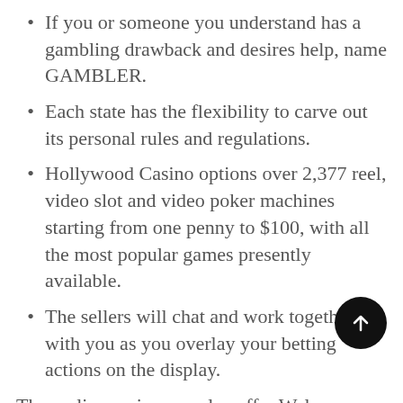If you or someone you understand has a gambling drawback and desires help, name GAMBLER.
Each state has the flexibility to carve out its personal rules and regulations.
Hollywood Casino options over 2,377 reel, video slot and video poker machines starting from one penny to $100, with all the most popular games presently available.
The sellers will chat and work together with you as you overlay your betting actions on the display.
The on line casino can also offer Welcome bonuses for high rollers who make an initial deposit above the